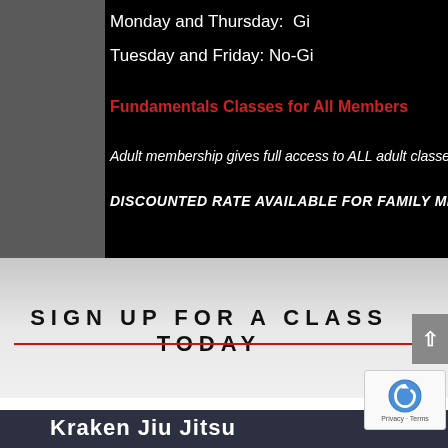Monday and Thursday:  Gi
Tuesday and Friday: No-Gi
Fundamentals Classes for All Members
Adult membership gives full access to ALL adult classes
DISCOUNTED RATE AVAILABLE FOR FAMILY MEMBERSHIP
SIGN UP FOR A CLASS TODAY
Kraken Jiu Jitsu